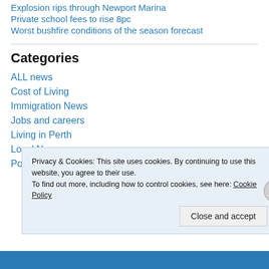Explosion rips through Newport Marina
Private school fees to rise 8pc
Worst bushfire conditions of the season forecast
Categories
ALL news
Cost of Living
Immigration News
Jobs and careers
Living in Perth
Local News
Political News
Privacy & Cookies: This site uses cookies. By continuing to use this website, you agree to their use.
To find out more, including how to control cookies, see here: Cookie Policy